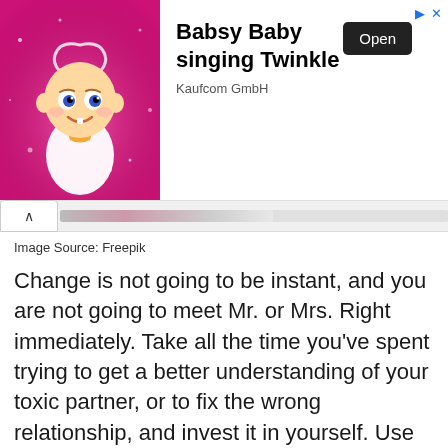[Figure (illustration): Advertisement banner showing a cartoon baby with a halo on a pink sparkly background, with text 'Babsy Baby singing Twinkle', company 'Kaufcom GmbH', and an 'Open' button. Small ad icons in top-right corner.]
Image Source: Freepik
Change is not going to be instant, and you are not going to meet Mr. or Mrs. Right immediately. Take all the time you've spent trying to get a better understanding of your toxic partner, or to fix the wrong relationship, and invest it in yourself. Use your energies to pursue self-growth. Start meditation or diary, read self-help books, or take part in weekly psychotherapy.